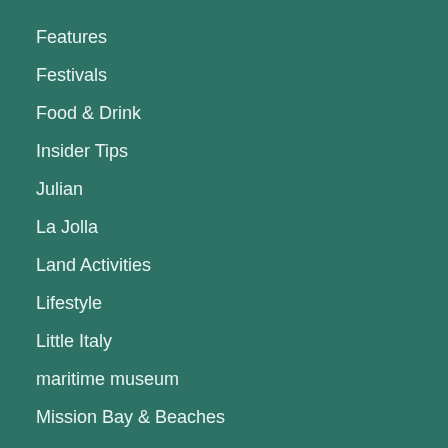Features
Festivals
Food & Drink
Insider Tips
Julian
La Jolla
Land Activities
Lifestyle
Little Italy
maritime museum
Mission Bay & Beaches
mission bay and beaches